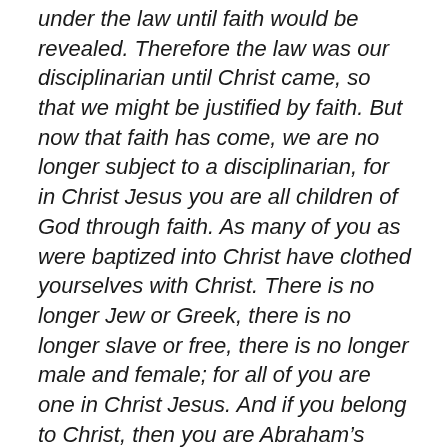under the law until faith would be revealed. Therefore the law was our disciplinarian until Christ came, so that we might be justified by faith. But now that faith has come, we are no longer subject to a disciplinarian, for in Christ Jesus you are all children of God through faith. As many of you as were baptized into Christ have clothed yourselves with Christ. There is no longer Jew or Greek, there is no longer slave or free, there is no longer male and female; for all of you are one in Christ Jesus. And if you belong to Christ, then you are Abraham’s offspring, heirs according to the promise.
Galatians 3:23-29 NRSV
https://bible.com/bible/2016/gal.3.23-29.NRSV
All creation is drawn by God’s love and the pigs cry out with the rocks, God is with you and you can choose the